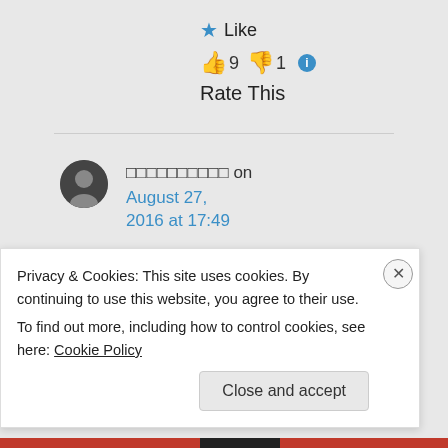★ Like
👍 9 👎 1 ℹ
Rate This
□□□□□□□□□□ on August 27, 2016 at 17:49
So you are
telling me that
Privacy & Cookies: This site uses cookies. By continuing to use this website, you agree to their use.
To find out more, including how to control cookies, see here: Cookie Policy
Close and accept